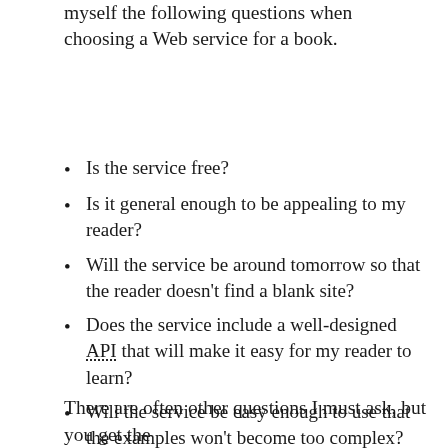myself the following questions when choosing a Web service for a book.
Is the service free?
Is it general enough to be appealing to my reader?
Will the service be around tomorrow so that the reader doesn't find a blank site?
Does the service include a well-designed API that will make it easy for my reader to learn?
Will the service be easy enough to use that the examples won't become too complex?
There are often other questions I must ask, but you get the